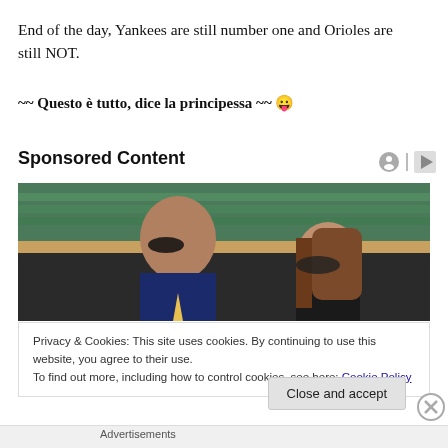End of the day, Yankees are still number one and Orioles are still NOT.
~~ Questo è tutto, dice la principessa ~~ 😛
Sponsored Content
[Figure (photo): Two people wearing sunglasses seated at what appears to be a sports event, with green seats visible in background.]
Privacy & Cookies: This site uses cookies. By continuing to use this website, you agree to their use.
To find out more, including how to control cookies, see here: Cookie Policy
Close and accept
Advertisements